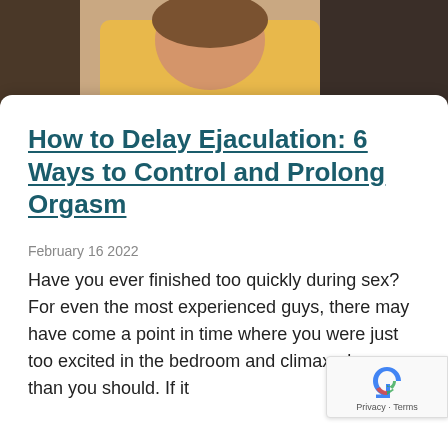[Figure (photo): Photo of a couple, man in yellow shirt with arms crossed, partially visible at top of page]
How to Delay Ejaculation: 6 Ways to Control and Prolong Orgasm
February 16 2022
Have you ever finished too quickly during sex? For even the most experienced guys, there may have come a point in time where you were just too excited in the bedroom and climaxed sooner than you should. If it